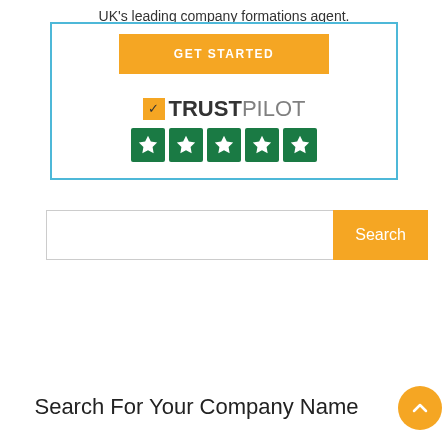UK's leading company formations agent.
[Figure (screenshot): GET STARTED orange button with Trustpilot logo and 5 green stars]
[Figure (screenshot): Search bar with orange Search button]
Search For Your Company Name